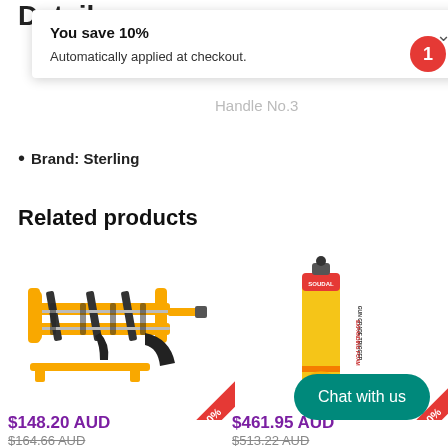Details
You save 10%
Automatically applied at checkout.
Brand: Sterling
Related products
[Figure (photo): Yellow and black caulking/sealant gun tool]
$148.20 AUD
$164.66 AUD
[Figure (photo): Soudal Gun Grade Trigger Expanding Foam aerosol can]
$461.95 AUD
$513.22 AUD